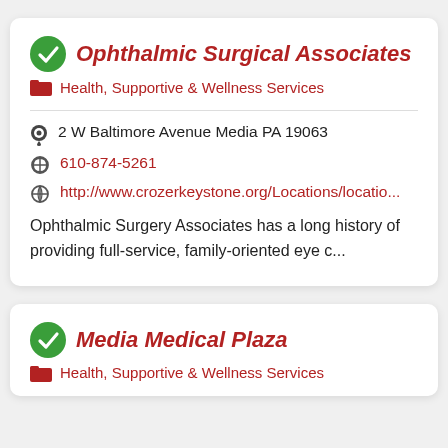Ophthalmic Surgical Associates
Health, Supportive & Wellness Services
2 W Baltimore Avenue Media PA 19063
610-874-5261
http://www.crozerkeystone.org/Locations/locatio...
Ophthalmic Surgery Associates has a long history of providing full-service, family-oriented eye c...
Media Medical Plaza
Health, Supportive & Wellness Services